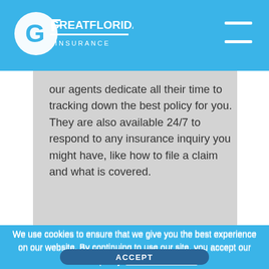GreatFlorida Insurance
our agents dedicate all their time to tracking down the best policy for you. They are also available 24/7 to respond to any insurance inquiry you might have, like how to file a claim and what is covered.
[Figure (logo): GreatFlorida Insurance orange circular logo mark, partially visible at bottom of gray content area]
We use cookies to ensure that we give you the best experience on our website. By continuing to use our site, you accept our cookie policy. More information
ACCEPT